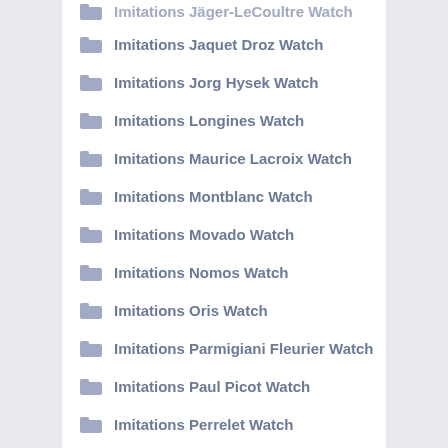Imitations Jaquet Droz Watch
Imitations Jorg Hysek Watch
Imitations Longines Watch
Imitations Maurice Lacroix Watch
Imitations Montblanc Watch
Imitations Movado Watch
Imitations Nomos Watch
Imitations Oris Watch
Imitations Parmigiani Fleurier Watch
Imitations Paul Picot Watch
Imitations Perrelet Watch
Imitations Piaget Watch